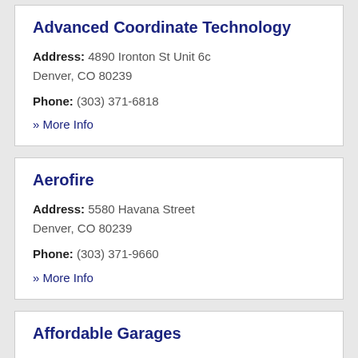Advanced Coordinate Technology
Address: 4890 Ironton St Unit 6c
Denver, CO 80239
Phone: (303) 371-6818
» More Info
Aerofire
Address: 5580 Havana Street
Denver, CO 80239
Phone: (303) 371-9660
» More Info
Affordable Garages
Address: 177 W Alameda Avenue